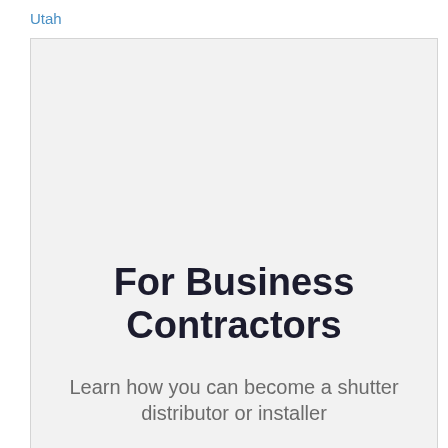Utah
[Figure (illustration): A light gray card or panel with large bold text at the bottom reading 'For Business Contractors' and subtitle text 'Learn how you can become a shutter distributor or installer']
For Business Contractors
Learn how you can become a shutter distributor or installer